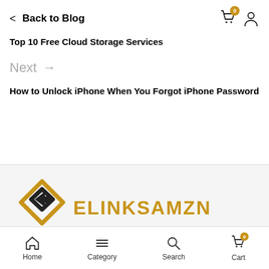< Back to Blog
Top 10 Free Cloud Storage Services
Next →
How to Unlock iPhone When You Forgot iPhone Password
[Figure (logo): ELINKSAMZN logo with stylized diamond/arrow icon in black and gold, and orange text ELINKSAMZN]
Home   Category   Search   Cart